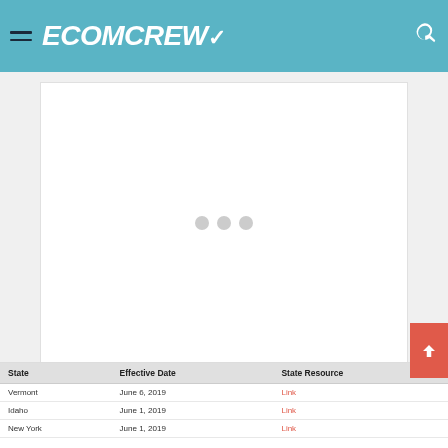ECOMCREW
[Figure (other): White card area with three grey loading dots in the center, indicating content is loading]
| State | Effective Date | State Resource |
| --- | --- | --- |
| Vermont | June 6, 2019 | Link |
| Idaho | June 1, 2019 | Link |
| New York | June 1, 2019 | Link |